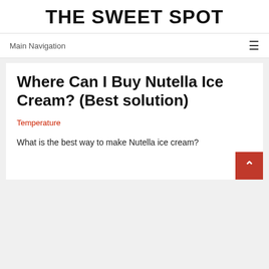THE SWEET SPOT
Main Navigation
Where Can I Buy Nutella Ice Cream? (Best solution)
Temperature
What is the best way to make Nutella ice cream?